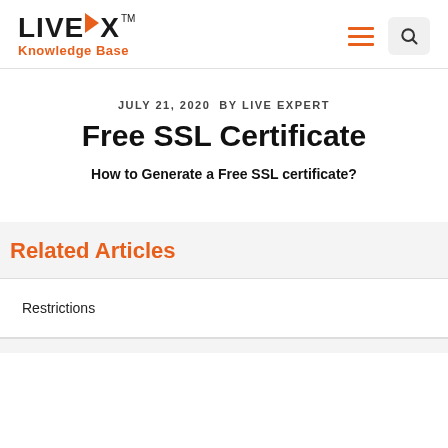LIVEBOX™ Knowledge Base
JULY 21, 2020 BY LIVE EXPERT
Free SSL Certificate
How to Generate a Free SSL certificate?
Related Articles
Restrictions